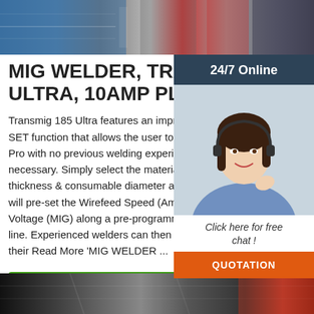[Figure (photo): Top banner image showing industrial welding/manufacturing equipment with blue, grey, and red tones]
MIG WELDER, TRANSMIG 185 ULTRA, 10AMP PLUG, MIG...
Transmig 185 Ultra features an impressive SET function that allows the user to weld Pro with no previous welding experience necessary. Simply select the material type, thickness & consumable diameter and AUTO will pre-set the Wirefeed Speed (Amperage) & Voltage (MIG) along a pre-programmed synergic line. Experienced welders can then customize their Read More 'MIG WELDER ...'
[Figure (photo): Sidebar with 24/7 Online label, photo of a woman with headset smiling, Click here for free chat text, and QUOTATION button]
[Figure (other): Get Price green button]
[Figure (photo): Bottom banner image showing industrial interior/ceiling with dark and red tones]